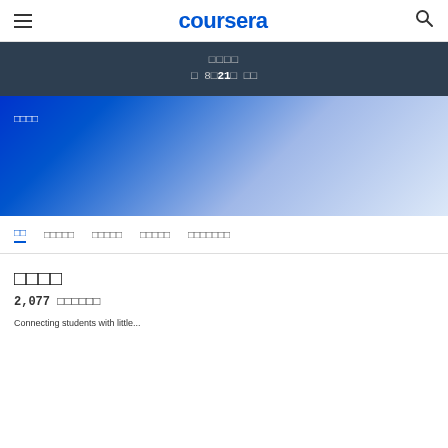coursera
□□□□  □ 8□21□ □□
[Figure (illustration): Blue to light blue gradient banner with white text label in top left corner showing placeholder characters]
□□  □□□□□  □□□□□  □□□□□  □□□□□□□
□□□□
2,077 □□□□□□
Connecting students with little...